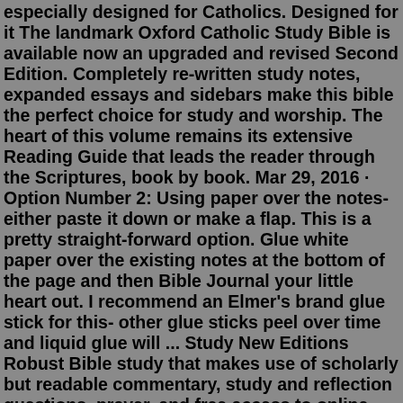especially designed for Catholics. Designed for it The landmark Oxford Catholic Study Bible is available now an upgraded and revised Second Edition. Completely re-written study notes, expanded essays and sidebars make this bible the perfect choice for study and worship. The heart of this volume remains its extensive Reading Guide that leads the reader through the Scriptures, book by book. Mar 29, 2016 · Option Number 2: Using paper over the notes- either paste it down or make a flap. This is a pretty straight-forward option. Glue white paper over the existing notes at the bottom of the page and then Bible Journal your little heart out. I recommend an Elmer's brand glue stick for this- other glue sticks peel over time and liquid glue will ... Study New Editions Robust Bible study that makes use of scholarly but readable commentary, study and reflection questions, prayer, and free access to online lectures—all in single books. Little Rock Catholic Study Bible User-friendly study edition of the Bible that places all types of information throughout the Bible where you need it